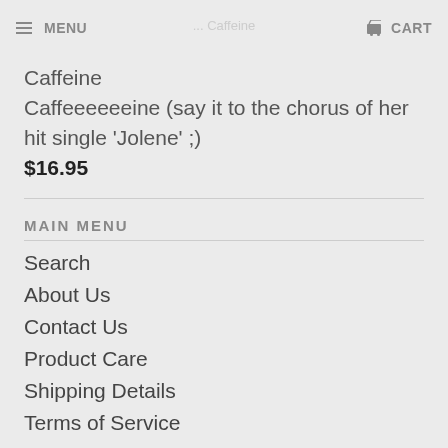MENU | CART
Caffeine
Caffeeeeeeine (say it to the chorus of her hit single 'Jolene' ;)
$16.95
MAIN MENU
Search
About Us
Contact Us
Product Care
Shipping Details
Terms of Service